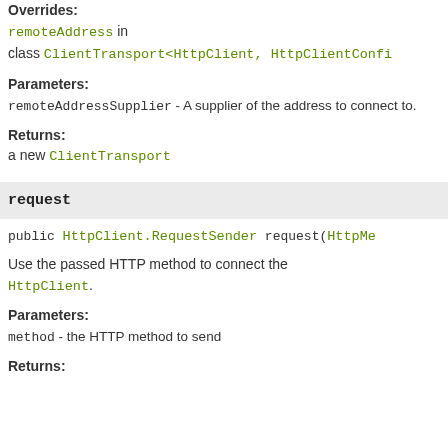Overrides: remoteAddress in class ClientTransport<HttpClient, HttpClientConfig
Parameters:
remoteAddressSupplier - A supplier of the address to connect to.
Returns:
a new ClientTransport
request
public HttpClient.RequestSender request(HttpMe...
Use the passed HTTP method to connect the HttpClient.
Parameters:
method - the HTTP method to send
Returns: